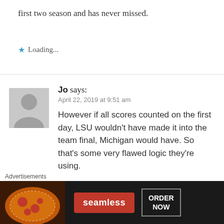first two season and has never missed.
Loading...
Jo says:
April 22, 2019 at 9:51 am
However if all scores counted on the first day, LSU wouldn't have made it into the team final, Michigan would have. So that's some very flawed logic they're using.
Loading...
Advertisements
[Figure (photo): Seamless food delivery advertisement banner showing pizza with Seamless logo and ORDER NOW button]